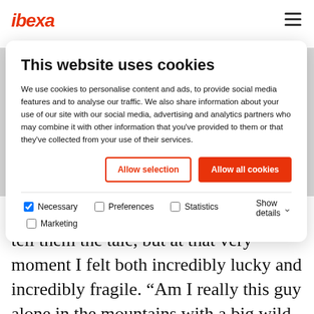[Figure (logo): iDEKA logo in red italic bold text]
This website uses cookies
We use cookies to personalise content and ads, to provide social media features and to analyse our traffic. We also share information about your use of our site with our social media, advertising and analytics partners who may combine it with other information that you've provided to them or that they've collected from your use of their services.
Allow selection | Allow all cookies
Necessary  Preferences  Statistics  Marketing  Show details
My sons often make fun of me when I tell them the tale, but at that very moment I felt both incredibly lucky and incredibly fragile. “Am I really this guy alone in the mountains with a big wild wolf running next to him?” This vision